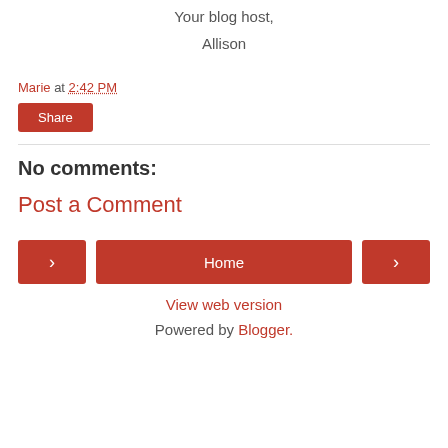Your blog host,
Allison
Marie at 2:42 PM
Share
No comments:
Post a Comment
< Home >
View web version
Powered by Blogger.